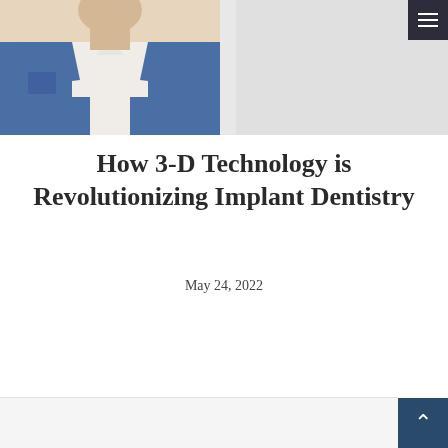[Figure (photo): Partial photo of a person in a blue blazer and white shirt, upper body visible. Right side of header area is gray background.]
How 3-D Technology is Revolutionizing Implant Dentistry
May 24, 2022